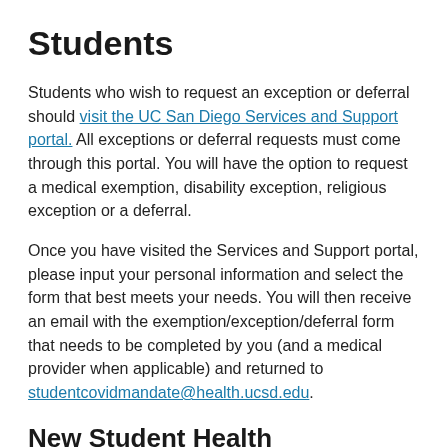Students
Students who wish to request an exception or deferral should visit the UC San Diego Services and Support portal. All exceptions or deferral requests must come through this portal. You will have the option to request a medical exemption, disability exception, religious exception or a deferral.
Once you have visited the Services and Support portal, please input your personal information and select the form that best meets your needs. You will then receive an email with the exemption/exception/deferral form that needs to be completed by you (and a medical provider when applicable) and returned to studentcovidmandate@health.ucsd.edu.
New Student Health Requirements
Incoming UC San Diego students must meet three health